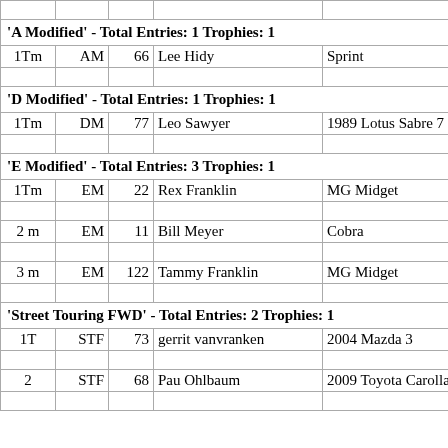| Place | Class | # | Name | Car |
| --- | --- | --- | --- | --- |
| 'A Modified' - Total Entries: 1 Trophies: 1 |  |  |  |  |
| 1Tm | AM | 66 | Lee Hidy | Sprint |
|  |  |  |  |  |
| 'D Modified' - Total Entries: 1 Trophies: 1 |  |  |  |  |
| 1Tm | DM | 77 | Leo Sawyer | 1989 Lotus Sabre 7 |
|  |  |  |  |  |
| 'E Modified' - Total Entries: 3 Trophies: 1 |  |  |  |  |
| 1Tm | EM | 22 | Rex Franklin | MG Midget |
|  |  |  |  |  |
| 2 m | EM | 11 | Bill Meyer | Cobra |
|  |  |  |  |  |
| 3 m | EM | 122 | Tammy Franklin | MG Midget |
|  |  |  |  |  |
| 'Street Touring FWD' - Total Entries: 2 Trophies: 1 |  |  |  |  |
| 1T | STF | 73 | gerrit vanvranken | 2004 Mazda 3 |
|  |  |  |  |  |
| 2 | STF | 68 | Pau Ohlbaum | 2009 Toyota Carolla |
|  |  |  |  |  |